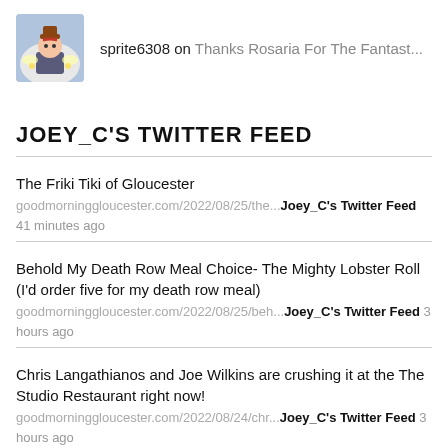[Figure (photo): Avatar/profile image of a cartoon character wearing a hat, sprite6308 user icon]
sprite6308 on Thanks Rosaria For The Fantast...
JOEY_C'S TWITTER FEED
The Friki Tiki of Gloucester
goodmorninggloucester.com/2022/08/25/the... Joey_C's Twitter Feed 41 minutes ago
Behold My Death Row Meal Choice- The Mighty Lobster Roll (I'd order five for my death row meal)
goodmorninggloucester.com/2022/08/25/beh... Joey_C's Twitter Feed 3 hours ago
Chris Langathianos and Joe Wilkins are crushing it at the The Studio Restaurant right now!
goodmorninggloucester.com/2022/08/24/chr... Joey_C's Twitter Feed 3 hours ago